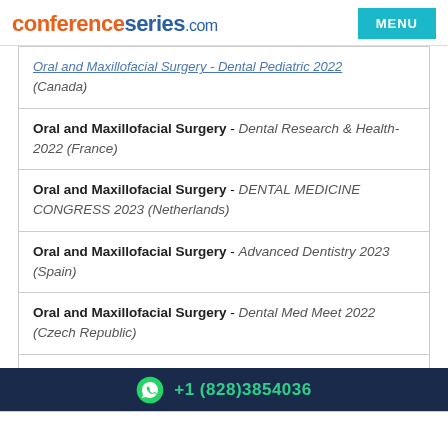conferenceseries.com
Oral and Maxillofacial Surgery - Dental Pediatric 2022 (Canada)
Oral and Maxillofacial Surgery - Dental Research & Health-2022 (France)
Oral and Maxillofacial Surgery - DENTAL MEDICINE CONGRESS 2023 (Netherlands)
Oral and Maxillofacial Surgery - Advanced Dentistry 2023 (Spain)
Oral and Maxillofacial Surgery - Dental Med Meet 2022 (Czech Republic)
Oral and Maxillofacial Surgery - Oral Therapy 2022 (France)
+1 (828)3854036